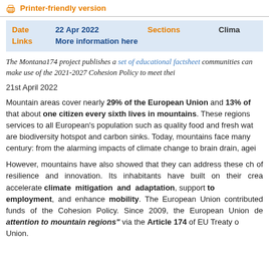🖨 Printer-friendly version
| Date | 22 Apr 2022 | Sections | Clima |
| --- | --- | --- | --- |
| Links | More information here |  |  |
The Montana174 project publishes a set of educational factsheet communities can make use of the 2021-2027 Cohesion Policy to meet thei
21st April 2022
Mountain areas cover nearly 29% of the European Union and 13% of that about one citizen every sixth lives in mountains. These regions services to all European's population such as quality food and fresh wat are biodiversity hotspot and carbon sinks. Today, mountains face many century: from the alarming impacts of climate change to brain drain, agei
However, mountains have also showed that they can address these ch of resilience and innovation. Its inhabitants have built on their crea accelerate climate mitigation and adaptation, support to employment, and enhance mobility. The European Union contributed funds of the Cohesion Policy. Since 2009, the European Union de attention to mountain regions" via the Article 174 of EU Treaty o Union.